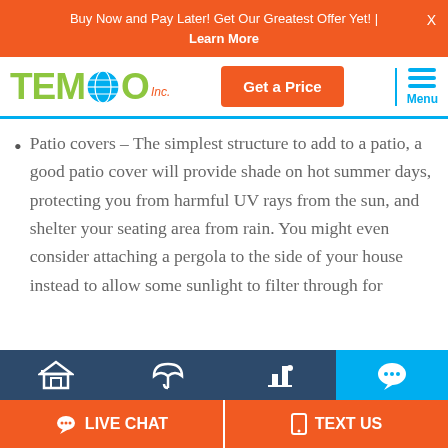Buy Now and Pay Later! Get Our Greatest Offer Yet! | Learn More
[Figure (logo): TEMO Inc. logo with globe icon]
Patio covers – The simplest structure to add to a patio, a good patio cover will provide shade on hot summer days, protecting you from harmful UV rays from the sun, and shelter your seating area from rain. You might even consider attaching a pergola to the side of your house instead to allow some sunlight to filter through for
LIVE CHAT | TEXT US